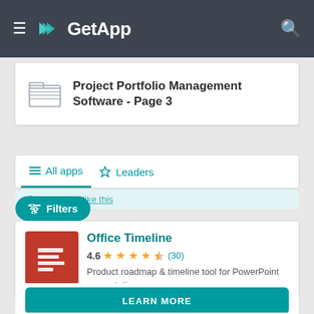GetApp
Project Portfolio Management Software - Page 3
All apps   Leaders
[Figure (screenshot): Partially visible strip with text behind filters button]
Filters
Office Timeline
4.6  (30)
Product roadmap & timeline tool for PowerPoint presentations
LEARN MORE
Compare   Save